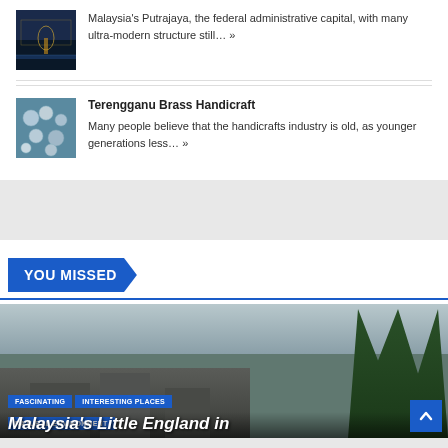Malaysia's Putrajaya, the federal administrative capital, with many ultra-modern structure still… »
Terengganu Brass Handicraft
Many people believe that the handicrafts industry is old, as younger generations less… »
YOU MISSED
[Figure (photo): Featured article image showing colonial-style buildings with trees and overcast sky — Malaysia's Little England]
FASCINATING
INTERESTING PLACES
NATURAL ENVIRONMENT
Malaysia's Little England in